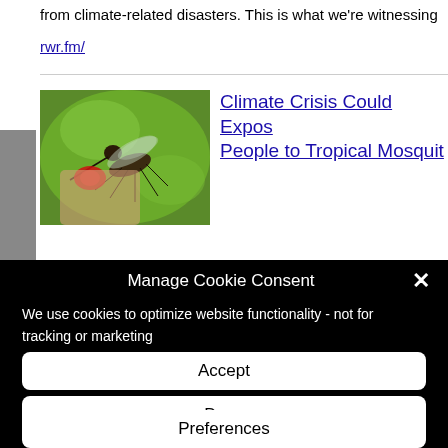from climate-related disasters. This is what we're witnessing
rwr.fm/
[Figure (photo): Close-up photo of a mosquito feeding on human skin with green background]
Climate Crisis Could Expose People to Tropical Mosquite
Manage Cookie Consent
We use cookies to optimize website functionality - not for tracking or marketing
Accept
Deny
Preferences